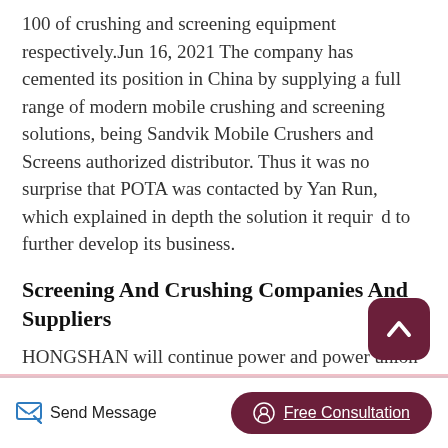100 of crushing and screening equipment respectively.Jun 16, 2021 The company has cemented its position in China by supplying a full range of modern mobile crushing and screening solutions, being Sandvik Mobile Crushers and Screens authorized distributor. Thus it was no surprise that POTA was contacted by Yan Run, which explained in depth the solution it required to further develop its business.
Screening And Crushing Companies And Suppliers
HONGSHAN will continue power and power union and cooperation with the olleague's in crushing